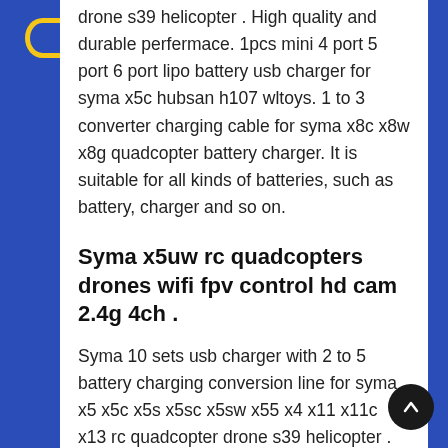drone s39 helicopter . High quality and durable perfermace. 1pcs mini 4 port 5 port 6 port lipo battery usb charger for syma x5c hubsan h107 wltoys. 1 to 3 converter charging cable for syma x8c x8w x8g quadcopter battery charger. It is suitable for all kinds of batteries, such as battery, charger and so on.
Syma x5uw rc quadcopters drones wifi fpv control hd cam 2.4g 4ch .
Syma 10 sets usb charger with 2 to 5 battery charging conversion line for syma x5 x5c x5s x5sc x5sw x55 x4 x11 x11c x13 rc quadcopter drone s39 helicopter . 1pcs mini 4 port 5 port 6 port lipo battery usb charger for syma x5c hubsan h107